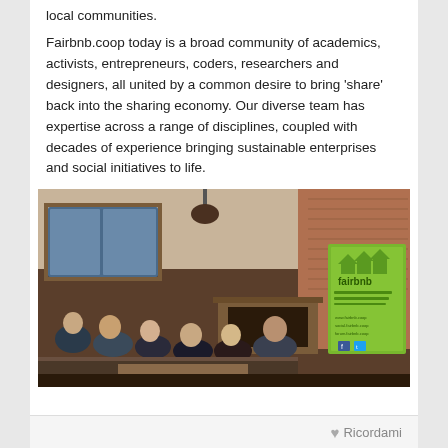local communities.
Fairbnb.coop today is a broad community of academics, activists, entrepreneurs, coders, researchers and designers, all united by a common desire to bring 'share' back into the sharing economy. Our diverse team has expertise across a range of disciplines, coupled with decades of experience bringing sustainable enterprises and social initiatives to life.
[Figure (photo): Group of people sitting together in a cozy room with a fireplace, brick wall, and a Fairbnb banner/roll-up stand visible on the right side.]
Ricordami